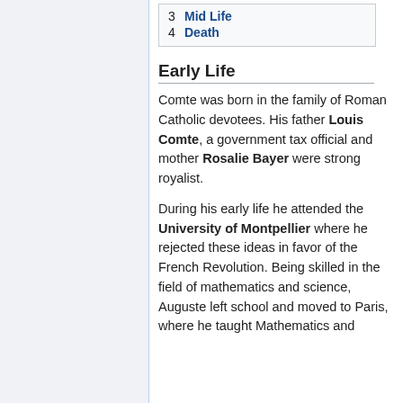3 Mid Life
4 Death
Early Life
Comte was born in the family of Roman Catholic devotees. His father Louis Comte, a government tax official and mother Rosalie Bayer were strong royalist.
During his early life he attended the University of Montpellier where he rejected these ideas in favor of the French Revolution. Being skilled in the field of mathematics and science, Auguste left school and moved to Paris, where he taught Mathematics and